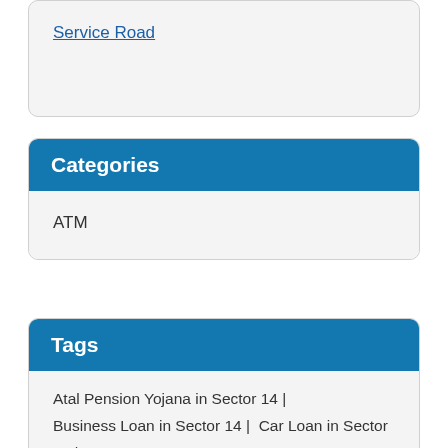Service Road
Categories
ATM
Tags
Atal Pension Yojana in Sector 14 |
Business Loan in Sector 14 |  Car Loan in Sector 14 |
Education Loan in Sector 14 |
Fixed Deposit in Sector 14 |  Gold Loan in Sector 14 |
Home Loan in Sector 14 |  IFSC Code in Sector 14 |
Insurance in Sector 14 |  Locker Facility in Sector 14 |